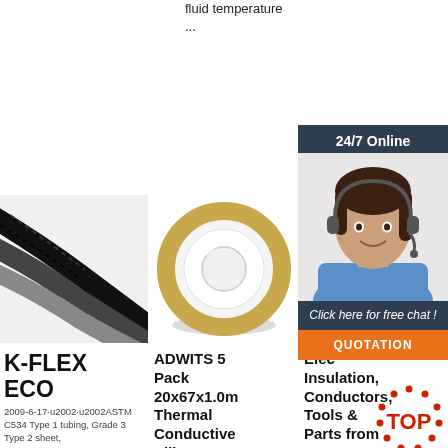fluid temperature ...
Get Price
Get Price
24/7 Online
[Figure (photo): Customer service agent woman with headset smiling]
Click here for free chat !
QUOTATION
[Figure (photo): K-FLEX ECO black braided insulation tubing]
[Figure (photo): White roll of ADWITS thermal conductive silicone tape]
[Figure (photo): Small electrical components connectors]
K-FLEX ECO
ADWITS 5 Pack 20x67x1.0m Thermal Conductive Silicone
Electrical Insulation, Conductors, Tools & Parts from ...
2009-6-17·u2002·u2002ASTM C534 Type 1 tubing, Grade 3 Type 2 sheet,